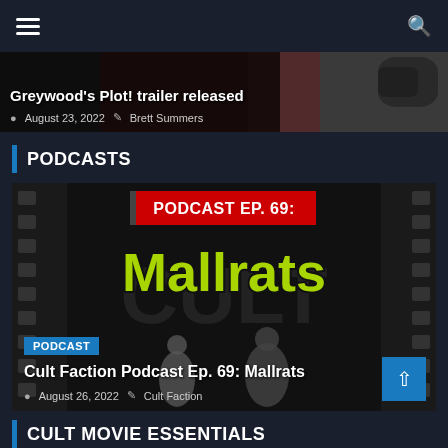Navigation bar with hamburger menu and search icon
[Figure (screenshot): Article thumbnail strip: Greywood's Plot! trailer released, August 23 2022, Brett Summers]
Greywood's Plot! trailer released
August 23, 2022  Brett Summers
PODCASTS
[Figure (screenshot): Podcast card showing Mallrats film strip background with large green Mallrats logo text and two people posing, with PODCAST EP. 69: header text in red/white]
PODCAST
Cult Faction Podcast Ep. 69: Mallrats
August 26, 2022  Cult Faction
CULT MOVIE ESSENTIALS